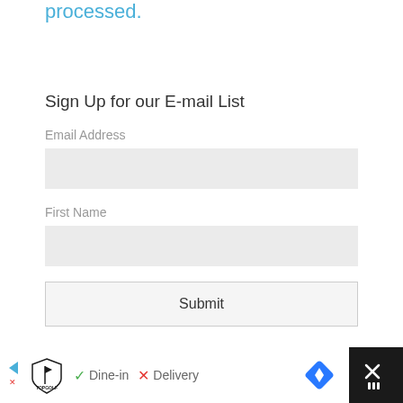processed.
Sign Up for our E-mail List
Email Address
First Name
Submit
Recent Posts
[Figure (screenshot): Ad banner at bottom showing Topgolf logo with Dine-in checkmark and Delivery X mark, navigation arrow icon, and weather/menu icon on dark background]